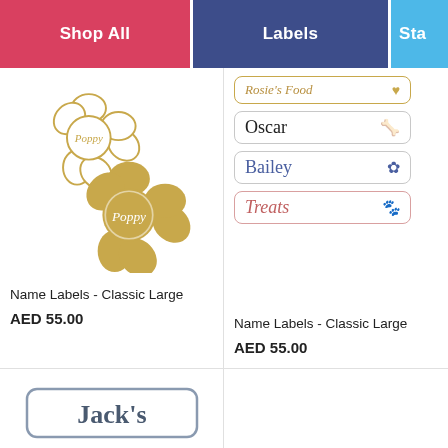Shop All | Labels | Sta
[Figure (illustration): Two flower-shaped pet name stickers labeled 'Poppy' — one white outline, one solid golden/tan color]
Name Labels - Classic Large
AED 55.00
[Figure (illustration): Four rectangular name label cards: 'Rosie's Food' with heart icon, 'Oscar' with bone icon, 'Bailey' with flower icon, 'Treats' with paw print icon]
Name Labels - Classic Large
AED 55.00
[Figure (illustration): Partial view of a rectangular label card reading 'Jack's']